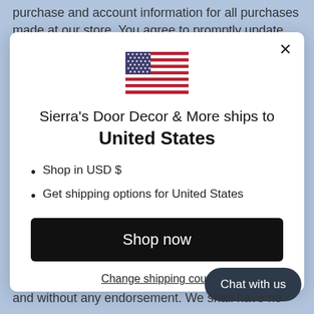purchase and account information for all purchases made at our store. You agree to promptly update your
[Figure (illustration): US flag icon]
Sierra's Door Decor & More ships to United States
Shop in USD $
Get shipping options for United States
Shop now
Change shipping country
Chat with us
and without any endorsement. We shall have no